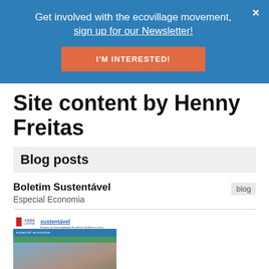Get involved with the ecovillage movement, sign up for our Newsletter!
I'M INTERESTED!
Site content by Henny Freitas
Blog posts
Boletim Sustentável
Especial Economia
blog
[Figure (photo): Magazine cover of Boletim Sustentável – Especial Economia, showing Casa Latina logo and a collage of people photos with blue/green color scheme]